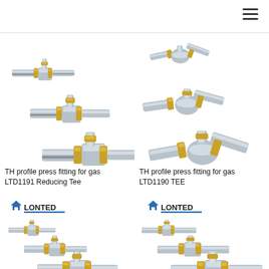[Figure (photo): TH profile press fitting for gas LTD1191 Reducing Tee - three product images showing metallic tee fittings with yellow press rings, different sizes]
[Figure (photo): TH profile press fitting for gas LTD1190 TEE - three product images showing metallic tee fittings with yellow/gold press rings]
TH profile press fitting for gas LTD1191 Reducing Tee
TH profile press fitting for gas LTD1190 TEE
[Figure (logo): LONTED logo - blue and dark text with geometric roof symbol]
[Figure (logo): LONTED logo - blue and dark text with geometric roof symbol]
[Figure (photo): Three reducing tee press fittings shown in progressively larger sizes with yellow press rings]
[Figure (photo): Three tee press fittings shown in progressively larger sizes with yellow/gold press rings]